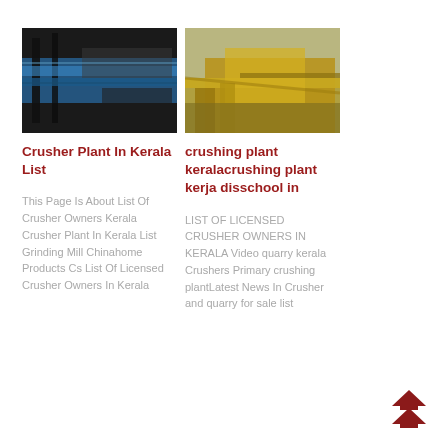[Figure (photo): Photo of a blue crushing/screening plant conveyor machinery]
Crusher Plant In Kerala List
This Page Is About List Of Crusher Owners Kerala Crusher Plant In Kerala List Grinding Mill Chinahome Products Cs List Of Licensed Crusher Owners In Kerala
[Figure (photo): Photo of a yellow crushing plant machinery at a quarry site]
crushing plant keralacrushing plant kerja disschool in
LIST OF LICENSED CRUSHER OWNERS IN KERALA Video quarry kerala Crushers Primary crushing plantLatest News In Crusher and quarry for sale list
[Figure (other): Red double chevron up arrow button]